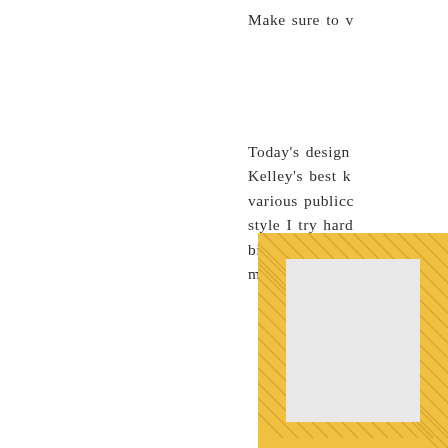Make sure to v
Today's design Kelley's best k various publicc style I try hard bit too much. made exclusive
[Figure (illustration): Partial view of a framed picture or mirror with a yellow/gold hatched border frame, showing a light gray interior, cropped at the bottom-right corner of the page.]